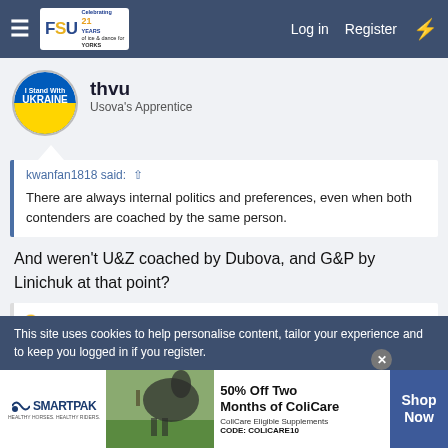FSU — Log in  Register
thvu
Usova's Apprentice
kwanfan1818 said: There are always internal politics and preferences, even when both contenders are coached by the same person.
And weren't U&Z coached by Dubova, and G&P by Linichuk at that point?
This site uses cookies to help personalise content, tailor your experience and to keep you logged in if you register.
[Figure (infographic): SmartPak advertisement: 50% Off Two Months of ColiCare, ColiCare Eligible Supplements CODE: COLICARE10, Shop Now button]